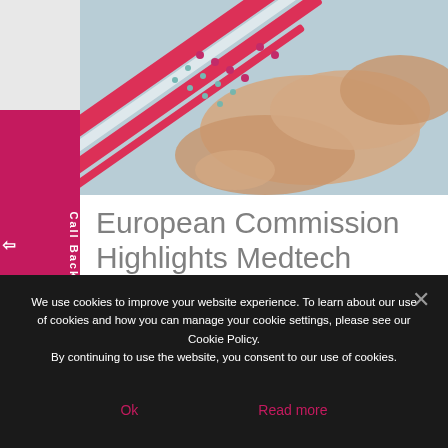[Figure (photo): Close-up photo of hands on a surface with decorative red/pink diagonal stripe and dot pattern overlaid on the upper right portion of the image]
European Commission Highlights Medtech Notified Bodies Giving It Cause For Concern
We use cookies to improve your website experience. To learn about our use of cookies and how you can manage your cookie settings, please see our Cookie Policy.
By continuing to use the website, you consent to our use of cookies.
Ok     Read more